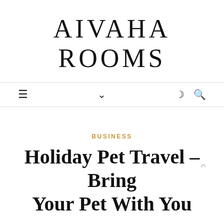AIVAHA ROOMS
BUSINESS
Holiday Pet Travel – Bring Your Pet With You
December 18, 2021